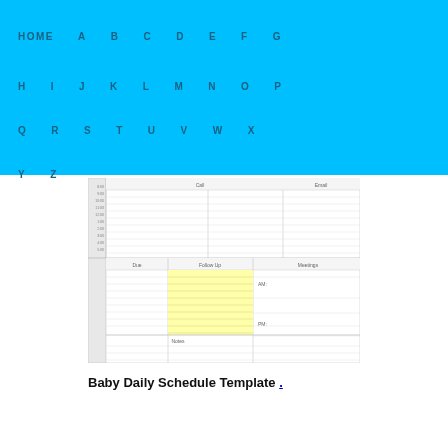HOME A B C D E F G H I J K L M N O P Q R S T U V W X Y Z
[Figure (other): Preview thumbnail of a Baby Daily Schedule Template form with sections for time slots, Due, Follow Up (highlighted yellow), Meetings, Notes, AM, and PM columns]
Baby Daily Schedule Template .